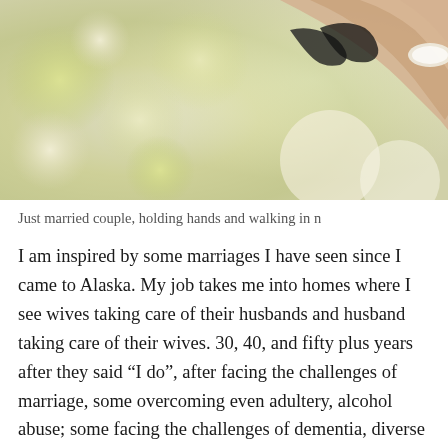[Figure (photo): Just married couple, holding hands and walking in nature, blurred yellow-green bokeh background with hands visible at upper right]
Just married couple, holding hands and walking in n
I am inspired by some marriages I have seen since I came to Alaska. My job takes me into homes where I see wives taking care of their husbands and husband taking care of their wives. 30, 40, and fifty plus years after they said “I do”, after facing the challenges of marriage, some overcoming even adultery, alcohol abuse; some facing the challenges of dementia, diverse disabilities and many other challenges. I have been able to see, with my own eyes, examples of